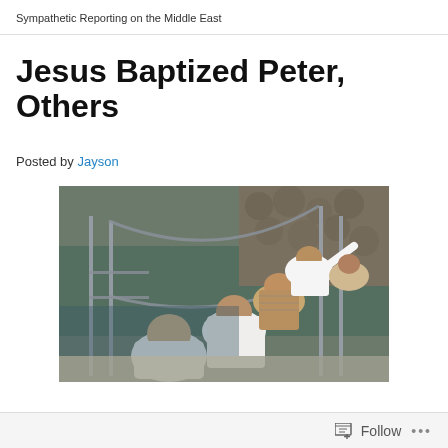Sympathetic Reporting on the Middle East
Jesus Baptized Peter, Others
Posted by Jayson
[Figure (photo): Several men walking along a railed walkway/pier near a river or body of water. Metal railings visible on both sides. Men wearing white shirts. Stone embankment visible in background.]
Follow  •••